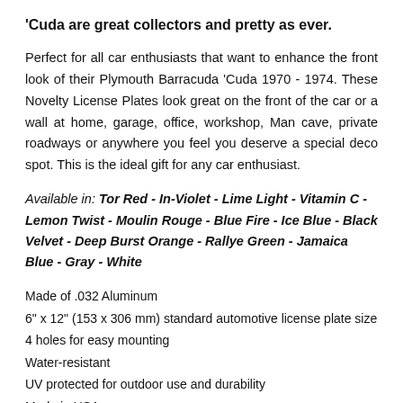'Cuda are great collectors and pretty as ever.
Perfect for all car enthusiasts that want to enhance the front look of their Plymouth Barracuda 'Cuda 1970 - 1974. These Novelty License Plates look great on the front of the car or a wall at home, garage, office, workshop, Man cave, private roadways or anywhere you feel you deserve a special deco spot. This is the ideal gift for any car enthusiast.
Available in: Tor Red - In-Violet - Lime Light - Vitamin C - Lemon Twist - Moulin Rouge - Blue Fire - Ice Blue - Black Velvet - Deep Burst Orange - Rallye Green - Jamaica Blue - Gray - White
Made of .032 Aluminum
6" x 12" (153 x 306 mm) standard automotive license plate size
4 holes for easy mounting
Water-resistant
UV protected for outdoor use and durability
Made in USA